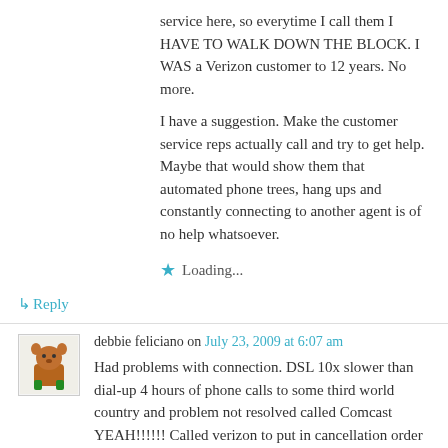service here, so everytime I call them I HAVE TO WALK DOWN THE BLOCK. I WAS a Verizon customer to 12 years. No more.
I have a suggestion. Make the customer service reps actually call and try to get help. Maybe that would show them that automated phone trees, hang ups and constantly connecting to another agent is of no help whatsoever.
Loading...
↳ Reply
debbie feliciano on July 23, 2009 at 6:07 am
Had problems with connection. DSL 10x slower than dial-up 4 hours of phone calls to some third world country and problem not resolved called Comcast YEAH!!!!!! Called verizon to put in cancellation order for week of july 29th and the stupid idiot on the other end of the phone put in the cancelation order for that day without confirming it with me. Now I don't even have crappy internet nor do I have any access to my email despite being told that I would still have access to it for the next 30